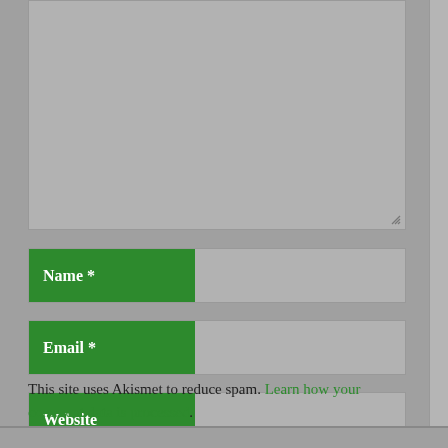[Figure (screenshot): A comment textarea (empty, light gray) with a resize handle at the bottom-right corner.]
Name *
Email *
Website
Post Comment
This site uses Akismet to reduce spam. Learn how your comment data is processed.